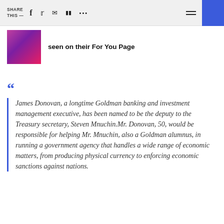SHARE THIS —
[Figure (photo): Thumbnail image with purple/pink gradient background]
seen on their For You Page
James Donovan, a longtime Goldman banking and investment management executive, has been named to be the deputy to the Treasury secretary, Steven Mnuchin.Mr. Donovan, 50, would be responsible for helping Mr. Mnuchin, also a Goldman alumnus, in running a government agency that handles a wide range of economic matters, from producing physical currency to enforcing economic sanctions against nations.